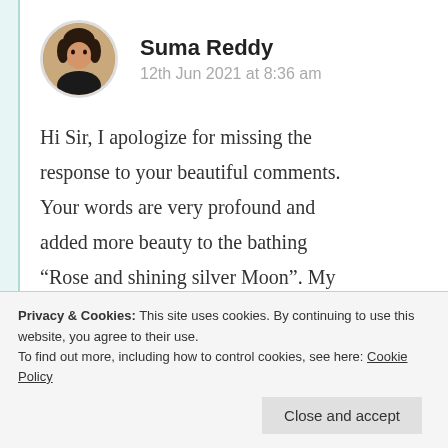[Figure (photo): Circular avatar photo of Suma Reddy, a woman with dark hair against a blurred background]
Suma Reddy
12th Jun 2021 at 8:36 am
Hi Sir, I apologize for missing the response to your beautiful comments. Your words are very profound and added more beauty to the bathing “Rose and shining silver Moon”. My heart is filled with happy smiles with
Privacy & Cookies: This site uses cookies. By continuing to use this website, you agree to their use.
To find out more, including how to control cookies, see here: Cookie Policy
Close and accept
Log in to Reply